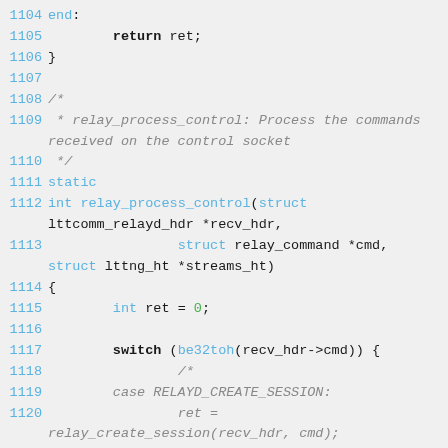Source code listing lines 1104-1124, C code for relay_process_control function